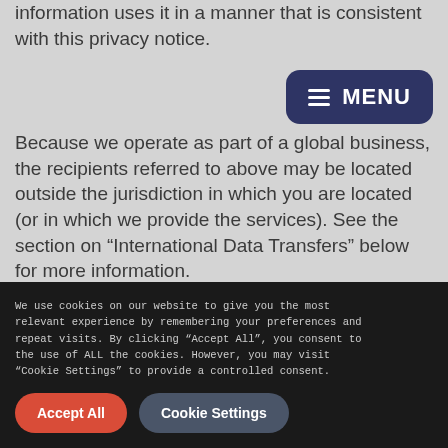information uses it in a manner that is consistent with this privacy notice.
[Figure (screenshot): Dark navy rounded rectangle button with list icon and MENU text in white]
Because we operate as part of a global business, the recipients referred to above may be located outside the jurisdiction in which you are located (or in which we provide the services). See the section on “International Data Transfers” below for more information.
We use cookies on our website to give you the most relevant experience by remembering your preferences and repeat visits. By clicking “Accept All”, you consent to the use of ALL the cookies. However, you may visit “Cookie Settings” to provide a controlled consent.
Accept All
Cookie Settings